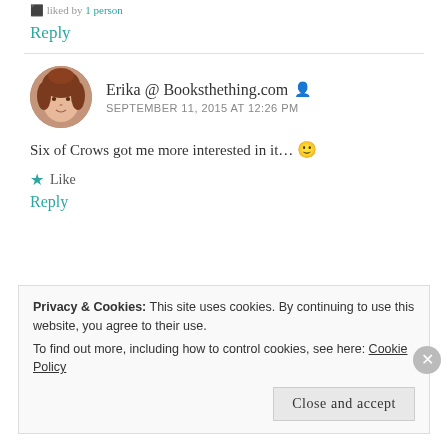liked by 1 person
Reply
Erika @ Booksthething.com
SEPTEMBER 11, 2015 AT 12:26 PM
Six of Crows got me more interested in it... 🙂
Like
Reply
Privacy & Cookies: This site uses cookies. By continuing to use this website, you agree to their use.
To find out more, including how to control cookies, see here: Cookie Policy
Close and accept